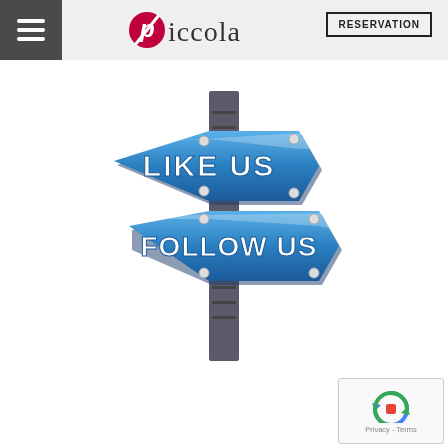Piccola — RESERVATION
[Figure (illustration): Street sign post with two directional signs: top sign pointing left reads 'LIKE US' and bottom sign pointing right reads 'FOLLOW US', both in blue with white bold text.]
[Figure (logo): reCAPTCHA badge with circular arrow icon and text 'Privacy - Terms']